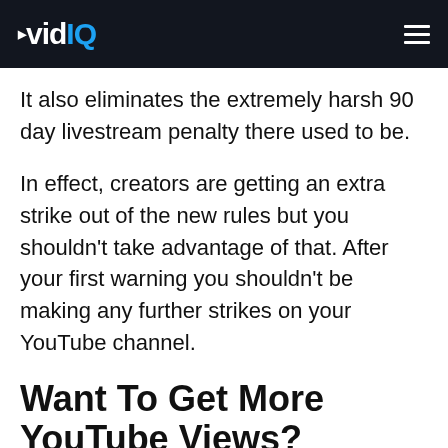vidIQ
It also eliminates the extremely harsh 90 day livestream penalty there used to be.
In effect, creators are getting an extra strike out of the new rules but you shouldn't take advantage of that. After your first warning you shouldn't be making any further strikes on your YouTube channel.
Want To Get More YouTube Views?